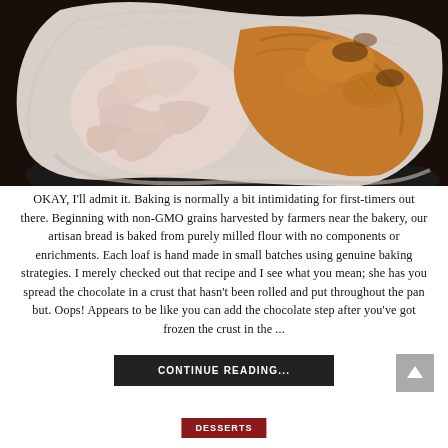[Figure (photo): Close-up food photography of an oyster or clam shell containing bread rolls or dough, with a golden-brown baked loaf visible, sitting on dark stones/mussels]
OKAY, I'll admit it. Baking is normally a bit intimidating for first-timers out there. Beginning with non-GMO grains harvested by farmers near the bakery, our artisan bread is baked from purely milled flour with no components or enrichments. Each loaf is hand made in small batches using genuine baking strategies. I merely checked out that recipe and I see what you mean; she has you spread the chocolate in a crust that hasn't been rolled and put throughout the pan but. Oops! Appears to be like you can add the chocolate step after you've got frozen the crust in the ...
CONTINUE READING...
DESSERTS